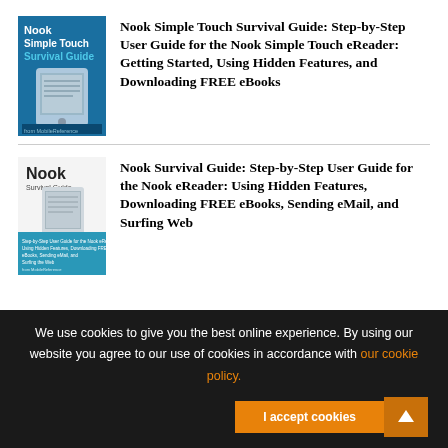[Figure (illustration): Book cover: Nook Simple Touch Survival Guide, blue background with eReader device image]
Nook Simple Touch Survival Guide: Step-by-Step User Guide for the Nook Simple Touch eReader: Getting Started, Using Hidden Features, and Downloading FREE eBooks
[Figure (illustration): Book cover: Nook Survival Guide, white/gray eReader device image with teal back cover]
Nook Survival Guide: Step-by-Step User Guide for the Nook eReader: Using Hidden Features, Downloading FREE eBooks, Sending eMail, and Surfing Web
We use cookies to give you the best online experience. By using our website you agree to our use of cookies in accordance with our cookie policy.